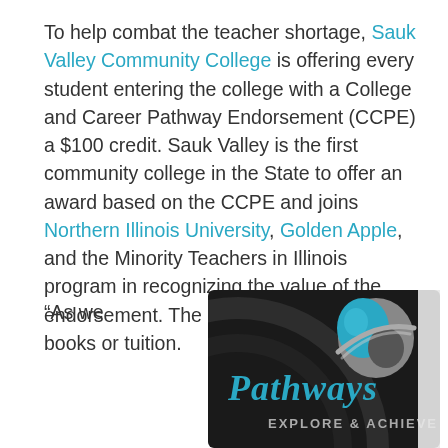To help combat the teacher shortage, Sauk Valley Community College is offering every student entering the college with a College and Career Pathway Endorsement (CCPE) a $100 credit. Sauk Valley is the first community college in the State to offer an award based on the CCPE and joins Northern Illinois University, Golden Apple, and the Minority Teachers in Illinois program in recognizing the value of the endorsement. The award can be used for books or tuition.
“As we
[Figure (logo): Pathways Explore & Achieve logo on dark background with a globe/planet graphic in teal and gray]